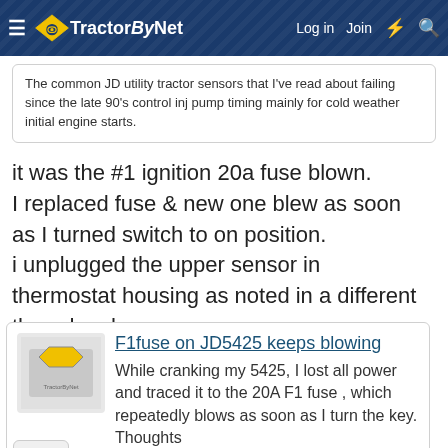TractorByNet — Log in  Join
The common JD utility tractor sensors that I've read about failing since the late 90's control inj pump timing mainly for cold weather initial engine starts.
it was the #1 ignition 20a fuse blown.
I replaced fuse & new one blew as soon as I turned switch to on position.
i unplugged the upper sensor in thermostat housing as noted in a different thread on here.
replaced fuse & started the tractor right up.
F1fuse on JD5425 keeps blowing
While cranking my 5425, I lost all power and traced it to the 20A F1 fuse , which repeatedly blows as soon as I turn the key. Thoughts